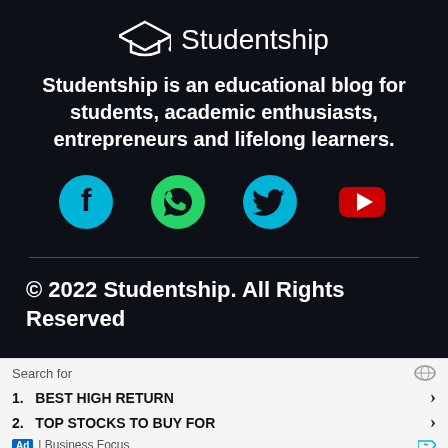[Figure (logo): Studentship graduation cap logo with text 'Studentship' in white on dark navy background]
Studentship is an educational blog for students, academic enthusiasts, entrepreneurs and lifelong learners.
[Figure (infographic): Social media icons row: Facebook (cyan circle), WhatsApp (green circle), Twitter (cyan bird), YouTube (red rectangle)]
© 2022 Studentship. All Rights Reserved
Search for
1.  BEST HIGH RETURN
2.  TOP STOCKS TO BUY FOR
Ad | Business Focus